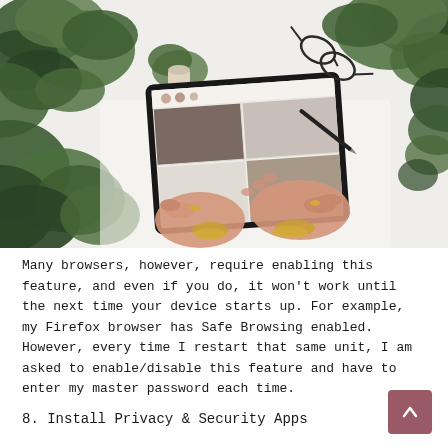[Figure (photo): A overhead photo of a woman's hands using a tablet/iPad, surrounded by green plants, with glasses and a pen visible on a white desk surface.]
Many browsers, however, require enabling this feature, and even if you do, it won't work until the next time your device starts up. For example, my Firefox browser has Safe Browsing enabled. However, every time I restart that same unit, I am asked to enable/disable this feature and have to enter my master password each time.
8. Install Privacy & Security Apps